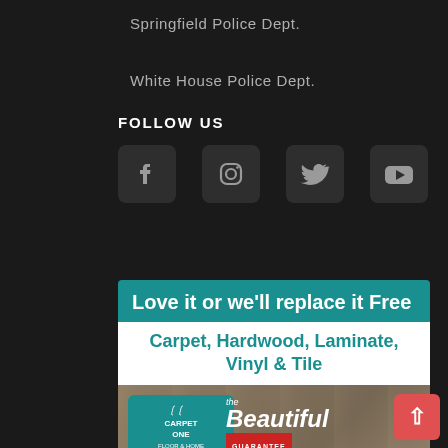Springfield Police Dept.
White House Police Dept.
FOLLOW US
[Figure (infographic): Social media icons: Facebook, Instagram, Twitter, YouTube in dark rounded square boxes]
[Figure (infographic): Carpet One Floor & Home advertisement banner. Headline: Love it or we'll replace it Free. Products: Carpet, Hardwood, Laminate, Vinyl & Tile. Logo: Carpet One with the Beautiful Guarantee. Phone: (615) 382-7190. Shop Now button.]